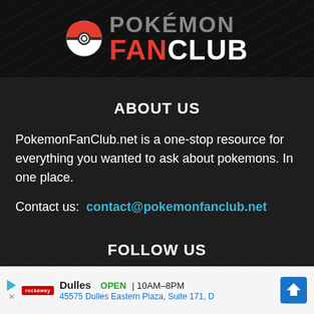[Figure (logo): Pokemon Fan Club logo with Pokeball icon, 'POKEMON' in gray and 'FANCLUB' with red FAN and white CLUB on dark background]
ABOUT US
PokemonFanClub.net is a one-stop resource for everything you wanted to ask about pokemons. In one place.
Contact us: contact@pokemonfanclub.net
FOLLOW US
[Figure (infographic): Row of 5 social media icon buttons: Blogger (B), Facebook (f), Flickr (..), Instagram (camera), VK (VK)]
Dulles OPEN | 10AM–8PM 45575 Dulles Eastern Plaza, Suite 171, D